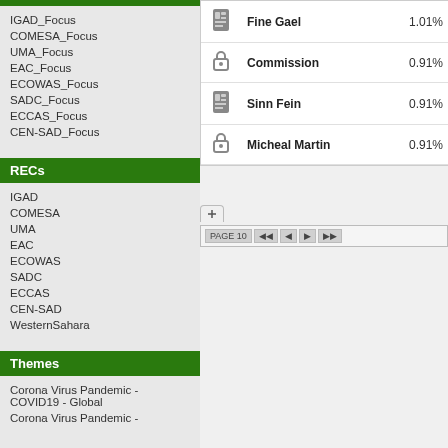IGAD_Focus
COMESA_Focus
UMA_Focus
EAC_Focus
ECOWAS_Focus
SADC_Focus
ECCAS_Focus
CEN-SAD_Focus
RECs
IGAD
COMESA
UMA
EAC
ECOWAS
SADC
ECCAS
CEN-SAD
WesternSahara
Themes
Corona Virus Pandemic - COVID19 - Global
Corona Virus Pandemic -
|  | Name | Percentage |
| --- | --- | --- |
| icon | Fine Gael | 1.01% |
| icon | Commission | 0.91% |
| icon | Sinn Fein | 0.91% |
| icon | Micheal Martin | 0.91% |